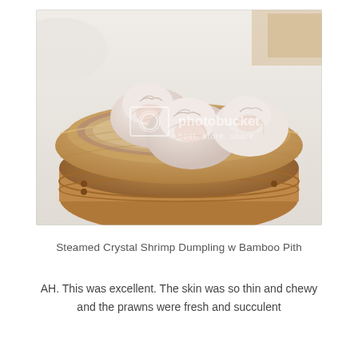[Figure (photo): A bamboo steamer basket containing steamed crystal shrimp dumplings with translucent white skin, photographed from above and slightly to the side. A Photobucket watermark is visible in the center of the image.]
Steamed Crystal Shrimp Dumpling w Bamboo Pith
AH. This was excellent. The skin was so thin and chewy and the prawns were fresh and succulent